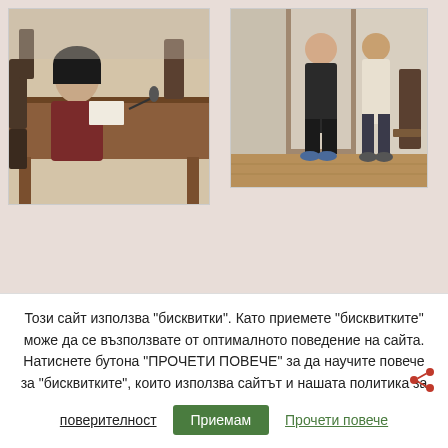[Figure (photo): Photo of a meeting room interior with a wooden table, chairs, and a person with dark hair sitting at the table; a microphone is visible on the table]
[Figure (photo): Photo of people standing near a doorway in a room with wooden flooring and chairs]
Този сайт използва "бисквитки". Като приемете "бисквитките" може да се възползвате от оптималното поведение на сайта. Натиснете бутона "ПРОЧЕТИ ПОВЕЧЕ" за да научите повече за "бисквитките", които използва сайтът и нашата политика за поверителност